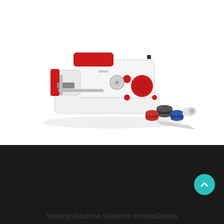[Figure (photo): A handheld portable sewing machine in white and red (Sewinne InnovaGoods brand), shown at an angle with thread spools (red, black, blue), a white thread spool, needles, and other accessories scattered around it.]
This shop uses cookies and other technologies so that we can enhance your experience on our sites.
Close
Sewing Machine Sewinne InnovaGoods